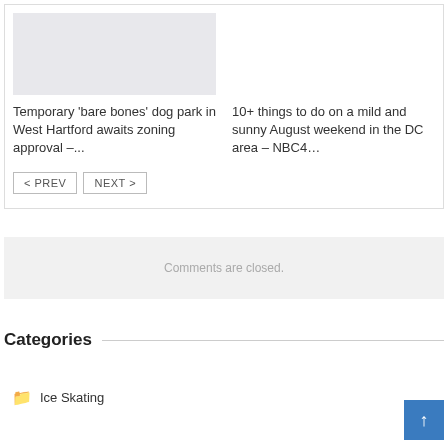[Figure (photo): Gray placeholder image for article thumbnail]
Temporary ‘bare bones’ dog park in West Hartford awaits zoning approval –...
10+ things to do on a mild and sunny August weekend in the DC area – NBC4…
< PREV
NEXT >
Comments are closed.
Categories
Ice Skating